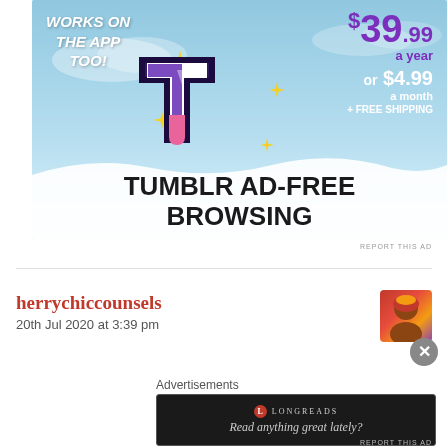[Figure (infographic): Tumblr ad-free browsing advertisement banner showing the Tumblr 't' logo with sparkle stars, sky background, pricing of $39.99 a year or $4.99 a month plus free shipping, and text 'WORKS ON THE APP TOO!' and 'TUMBLR AD-FREE BROWSING']
REPORT THIS AD
herrychiccounsels
20th Jul 2020 at 3:39 pm
Advertisements
[Figure (infographic): Longreads advertisement: dark background with red circle Longreads logo, text 'LONGREADS' and 'Read anything great lately?']